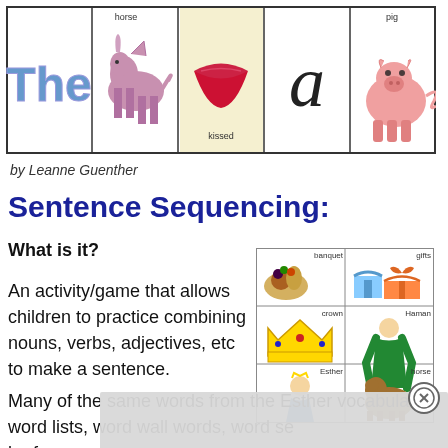[Figure (illustration): A row of five illustrated cards showing: 'The' text, a horse illustration, red lips labeled 'kissed', the letter 'a', and a pig illustration labeled 'pig']
by Leanne Guenther
Sentence Sequencing:
What is it?
[Figure (illustration): A 3x2 grid of vocabulary picture cards showing: banquet (food illustration), gifts (wrapped presents), crown (yellow crown), Haman (man in robes), Esther (woman with crown), horse (brown horse)]
An activity/game that allows children to practice combining nouns, verbs, adjectives, etc to make a sentence.
Many of the same words from the Esther vocabulary word lists, word wall words, word se be four